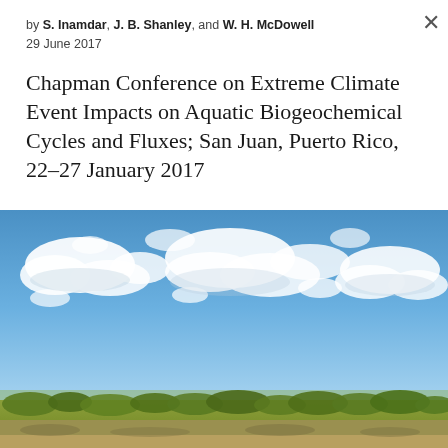by S. Inamdar, J. B. Shanley, and W. H. McDowell
29 June 2017
Chapman Conference on Extreme Climate Event Impacts on Aquatic Biogeochemical Cycles and Fluxes; San Juan, Puerto Rico, 22–27 January 2017
[Figure (photo): Landscape photograph showing a bright blue sky with scattered white clouds above low green scrubland vegetation. The scene appears to be in a tropical or subtropical coastal area, consistent with Puerto Rico.]